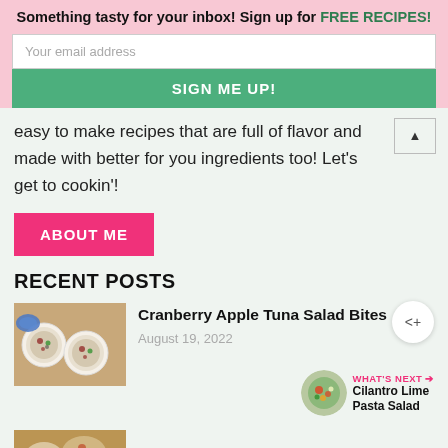Something tasty for your inbox! Sign up for FREE RECIPES!
Your email address
SIGN ME UP!
easy to make recipes that are full of flavor and made with better for you ingredients too! Let's get to cookin'!
ABOUT ME
RECENT POSTS
Cranberry Apple Tuna Salad Bites
August 19, 2022
[Figure (photo): Cranberry Apple Tuna Salad Bites food photo thumbnail]
WHAT'S NEXT → Cilantro Lime Pasta Salad
[Figure (photo): Cilantro Lime Pasta Salad circular thumbnail]
[Figure (photo): Bottom post food photo thumbnail]